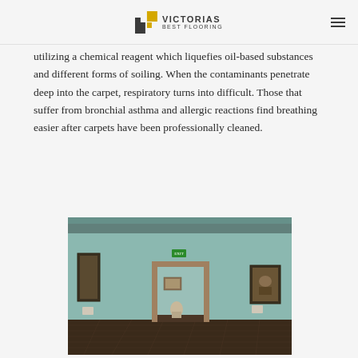VICTORIAS BEST FLOORING
utilizing a chemical reagent which liquefies oil-based substances and different forms of soiling. When the contaminants penetrate deep into the carpet, respiratory turns into difficult. Those that suffer from bronchial asthma and allergic reactions find breathing easier after carpets have been professionally cleaned.
[Figure (photo): Interior of a museum gallery with teal/green walls, dark wood flooring, an open doorway revealing artwork and a sculpture in the next room, and framed paintings on the walls]